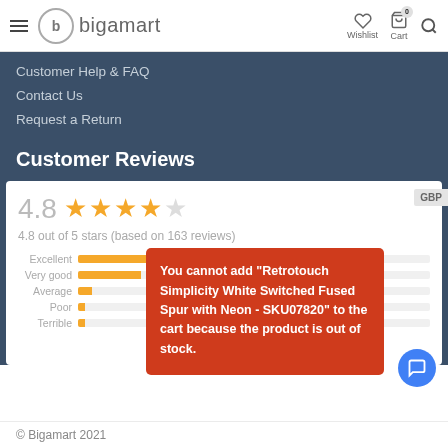bigamart — Wishlist, Cart, Search
Customer Help & FAQ
Contact Us
Request a Return
Customer Reviews
4.8 out of 5 stars (based on 163 reviews)
[Figure (infographic): Star rating bars: Excellent, Very good, Average, Poor, Terrible with orange bar chart indicators]
You cannot add "Retrotouch Simplicity White Switched Fused Spur with Neon - SKU07820" to the cart because the product is out of stock.
© Bigamart 2021